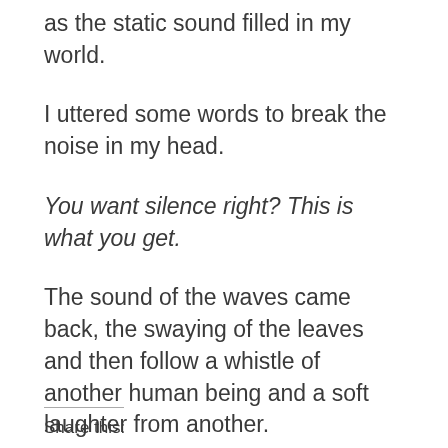as the static sound filled in my world.
I uttered some words to break the noise in my head.
You want silence right? This is what you get.
The sound of the waves came back, the swaying of the leaves and then follow a whistle of another human being and a soft laughter from another.
They found me again.
Share this: